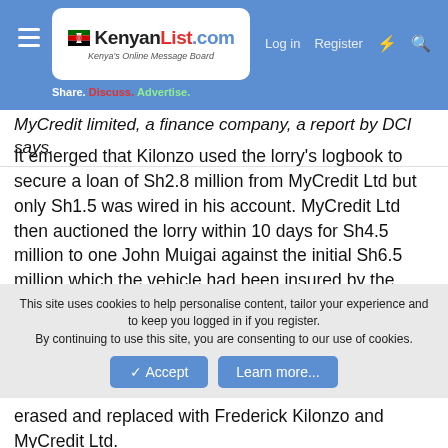[Figure (logo): KenyanList.com logo with Kenyan flag icon and tagline 'Kenya's Online Message Board'. Navigation bar with Log in, Register, lightning and search icons. Tagline: Share. Discuss. Advertise.]
MyCredit limited, a finance company, a report by DCI says.
It emerged that Kilonzo used the lorry's logbook to secure a loan of Sh2.8 million from MyCredit Ltd but only Sh1.5 was wired in his account. MyCredit Ltd then auctioned the lorry within 10 days for Sh4.5 million to one John Muigai against the initial Sh6.5 million which the vehicle had been insured by the Cooperative Bank.
"It is while Muigai was regularizing the vehicle's ownership, that he shockingly learned that the lorry did not belong to Frederick Kilonzo and MyCredit limited as he had been made to believe," detectives said.
This site uses cookies to help personalise content, tailor your experience and to keep you logged in if you register. By continuing to use this site, you are consenting to our use of cookies.
erased and replaced with Frederick Kilonzo and MyCredit Ltd.